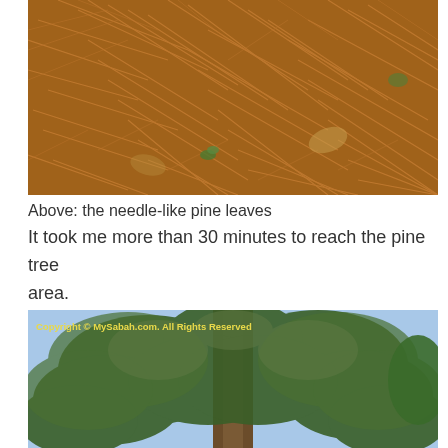[Figure (photo): Close-up photograph of pine needles scattered on the ground, showing many dry brownish-orange needle-like leaves in a tangled pattern with some small green plants and leaves visible]
Above: the needle-like pine leaves
It took me more than 30 minutes to reach the pine tree area.
[Figure (photo): Photograph looking up at pine tree branches with green needle-like foliage against a bright sky, with watermark text 'Copyright © MySabah.com. All Rights Reserved']